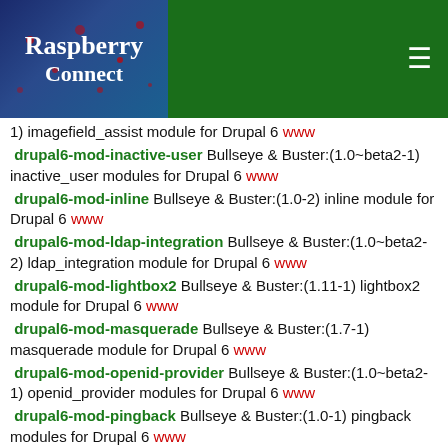Raspberry Connect
1) imagefield_assist module for Drupal 6 www
drupal6-mod-inactive-user Bullseye & Buster:(1.0~beta2-1) inactive_user modules for Drupal 6 www
drupal6-mod-inline Bullseye & Buster:(1.0-2) inline module for Drupal 6 www
drupal6-mod-ldap-integration Bullseye & Buster:(1.0~beta2-2) ldap_integration module for Drupal 6 www
drupal6-mod-lightbox2 Bullseye & Buster:(1.11-1) lightbox2 module for Drupal 6 www
drupal6-mod-masquerade Bullseye & Buster:(1.7-1) masquerade module for Drupal 6 www
drupal6-mod-openid-provider Bullseye & Buster:(1.0~beta2-1) openid_provider modules for Drupal 6 www
drupal6-mod-pingback Bullseye & Buster:(1.0-1) pingback modules for Drupal 6 www
drupal6-mod-site-verify Bullseye & Buster:(1.0-1) site_verify module for Drupal 6 www
drupal6-mod-tagadelic Bullseye & Buster:(1.3-1) tagadelic module for Drupal 6 www
drupal6-mod-trackback Bullseye & Buster:(1.2-1) trackback